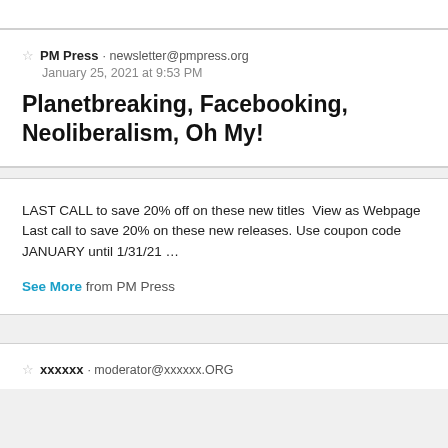PM Press · newsletter@pmpress.org
January 25, 2021 at 9:53 PM
Planetbreaking, Facebooking, Neoliberalism, Oh My!
LAST CALL to save 20% off on these new titles  View as Webpage Last call to save 20% on these new releases. Use coupon code JANUARY until 1/31/21 …
See More from PM Press
xxxxxx · moderator@xxxxxx.ORG